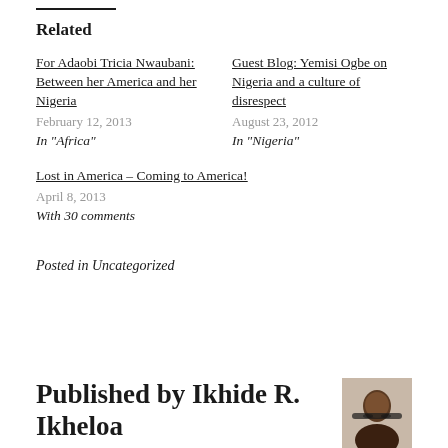Related
For Adaobi Tricia Nwaubani: Between her America and her Nigeria
February 12, 2013
In "Africa"
Guest Blog: Yemisi Ogbe on Nigeria and a culture of disrespect
August 23, 2012
In "Nigeria"
Lost in America – Coming to America!
April 8, 2013
With 30 comments
Posted in Uncategorized
Published by Ikhide R. Ikheloa